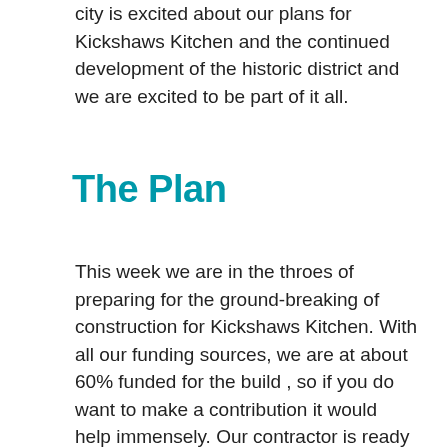city is excited about our plans for Kickshaws Kitchen and the continued development of the historic district and we are excited to be part of it all.
The Plan
This week we are in the throes of preparing for the ground-breaking of construction for Kickshaws Kitchen. With all our funding sources, we are at about 60% funded for the build , so if you do want to make a contribution it would help immensely. Our contractor is ready to get moving so we just need to give the go ahead. We hope to have all our ducks in a row by the end of the week and start the permit process either next week or the following. Because permitting and such can take time in Fredericksburg, we don't want to anncounce a definitive timeline, but we are projecting completion by Fall 2015